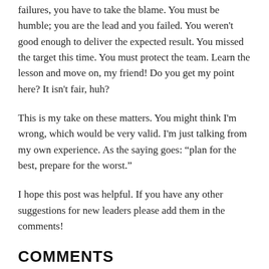failures, you have to take the blame. You must be humble; you are the lead and you failed. You weren't good enough to deliver the expected result. You missed the target this time. You must protect the team. Learn the lesson and move on, my friend! Do you get my point here? It isn't fair, huh?
This is my take on these matters. You might think I'm wrong, which would be very valid. I'm just talking from my own experience. As the saying goes: “plan for the best, prepare for the worst.”
I hope this post was helpful. If you have any other suggestions for new leaders please add them in the comments!
COMMENTS